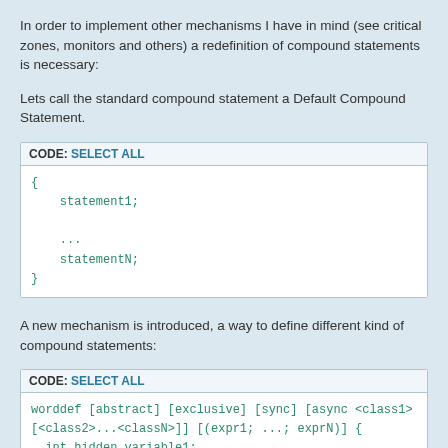In order to implement other mechanisms I have in mind (see critical zones, monitors and others) a redefinition of compound statements is necessary:
Lets call the standard compound statement a Default Compound Statement.
CODE: SELECT ALL
{
    statement1;
    ...
    statementN;
}
A new mechanism is introduced, a way to define different kind of compound statements:
CODE: SELECT ALL
worddef [abstract] [exclusive] [sync] [async <class1> [<class2>...<classN>]] [(expr1; ...; exprN)] {
  int hidden_variable1;
  char hidden_variable2;
  static uint32_t hidden_variable3;